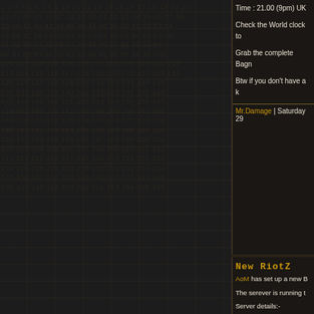Time : 21.00 (9pm) UK
Check the World clock to
Grab the complete Bagn
Btw if you don't have a k
Mr.Damage | Saturday 29
New RiotZ
AoM has set up a new B
The serever is running t
Server details:-
Server : AoM's UK Riots
IP : 82.15.31.92:31511
Maxclients : 18
You can download the R conback and most fo the
Download the files, open they will be placed in th